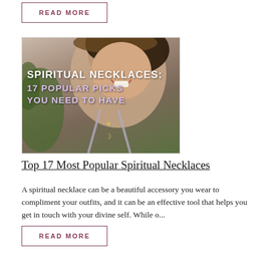READ MORE
[Figure (photo): A smiling woman wearing a spiritual necklace with a crescent moon and star pendant, with text overlay reading 'SPIRITUAL NECKLACES: 17 POPULAR PICKS YOU NEED TO HAVE']
Top 17 Most Popular Spiritual Necklaces
A spiritual necklace can be a beautiful accessory you wear to compliment your outfits, and it can be an effective tool that helps you get in touch with your divine self. While o...
READ MORE